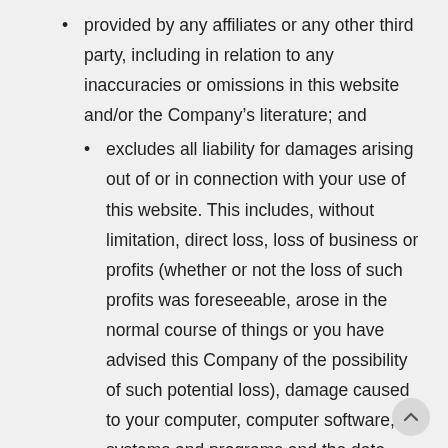provided by any affiliates or any other third party, including in relation to any inaccuracies or omissions in this website and/or the Company's literature; and
excludes all liability for damages arising out of or in connection with your use of this website. This includes, without limitation, direct loss, loss of business or profits (whether or not the loss of such profits was foreseeable, arose in the normal course of things or you have advised this Company of the possibility of such potential loss), damage caused to your computer, computer software, systems and programs and the data thereon or any other direct or indirect, consequential and incidental damages.
This Company does not however exclude liability for de… or personal injury caused by its negligence. The above